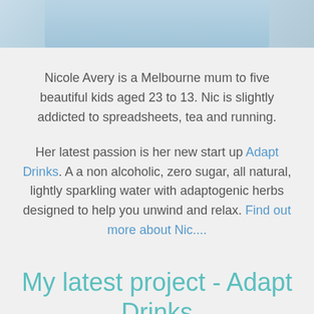[Figure (photo): Cropped photo showing a person wearing a light blue shirt, only torso visible]
Nicole Avery is a Melbourne mum to five beautiful kids aged 23 to 13. Nic is slightly addicted to spreadsheets, tea and running.
Her latest passion is her new start up Adapt Drinks. A a non alcoholic, zero sugar, all natural, lightly sparkling water with adaptogenic herbs designed to help you unwind and relax. Find out more about Nic....
My latest project - Adapt Drinks